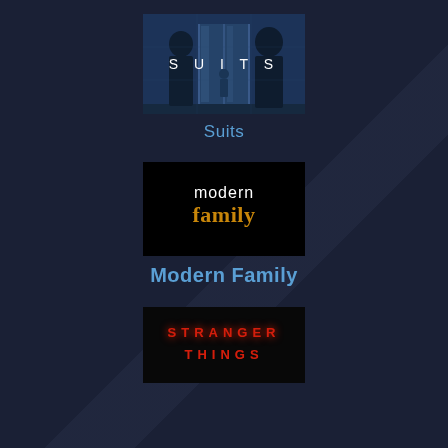[Figure (screenshot): Suits TV show thumbnail – two men in suits facing away in a blue-tinted office lobby with 'SUITS' text overlay]
Suits
[Figure (logo): Modern Family TV show logo – white 'modern' text above golden 'family' text on black background]
Modern Family
[Figure (logo): Stranger Things TV show logo – red neon-style text 'STRANGER THINGS' on dark background]